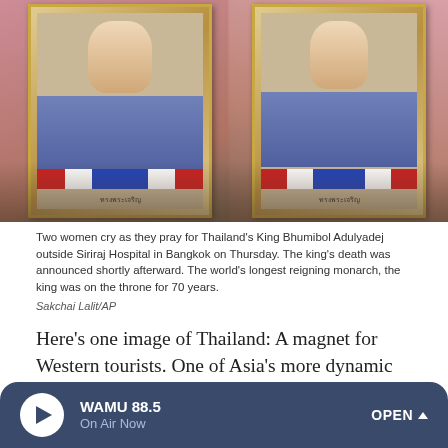[Figure (photo): Two women holding framed portraits of Thailand's King Bhumibol Adulyadej outside Siriraj Hospital in Bangkok. The framed portraits show the king in royal attire with Thai flag ribbon at the bottom.]
Two women cry as they pray for Thailand's King Bhumibol Adulyadej outside Siriraj Hospital in Bangkok on Thursday. The king's death was announced shortly afterward. The world's longest reigning monarch, the king was on the throne for 70 years.
Sakchai Lalit/AP
Here's one image of Thailand: A magnet for Western tourists. One of Asia's more dynamic economies. The land of smiles. And until Thursday, home of a beloved monarch who united Thais throughout his 70-year reign.
WAMU 88.5 On Air Now OPEN